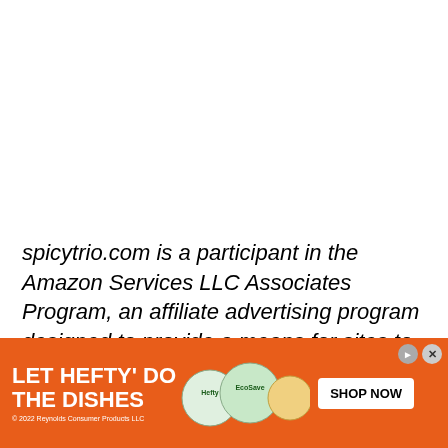spicytrio.com is a participant in the Amazon Services LLC Associates Program, an affiliate advertising program designed to provide a means for sites to earn advertising fees by advertising and linking to Amazon.com. spicytrio.com also participates in affiliate programs with other sites. spicytrio.com is
[Figure (other): Advertisement banner for Hefty brand dish products: 'LET HEFTY DO THE DISHES' with product images and 'SHOP NOW' button on orange background. © 2022 Reynolds Consumer Products LLC.]